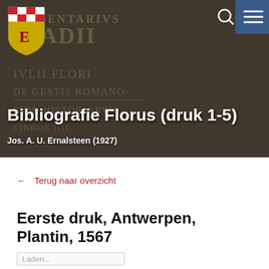[Figure (photo): Banner image showing an old book page with Latin text (COMMENTARIVS STADII, IVLII FLORI DE GESTIS ROMANO-RVM HISTORIARVM LIBROS IIII) as background, with a heraldic shield logo (red, white and gold) in top left, search icon and blue hamburger menu button in top right.]
Bibliografie Florus (druk 1-5)
Jos. A. U. Ernalsteen (1927)
← Terug naar overzicht
Eerste druk, Antwerpen, Plantin, 1567
Laden...